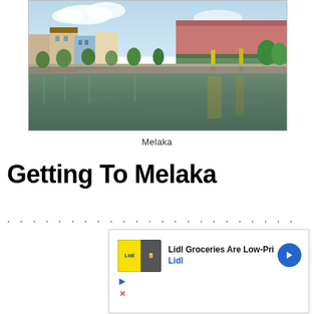[Figure (photo): Riverfront scene in Melaka showing colonial-era buildings, a bridge with red structure, greenery along the riverbank, and calm water reflecting the surroundings]
Melaka
Getting To Melaka
...
[Figure (other): Advertisement: Lidl Groceries Are Low-Priced. Lidl. With Lidl logo and navigation arrow icon.]